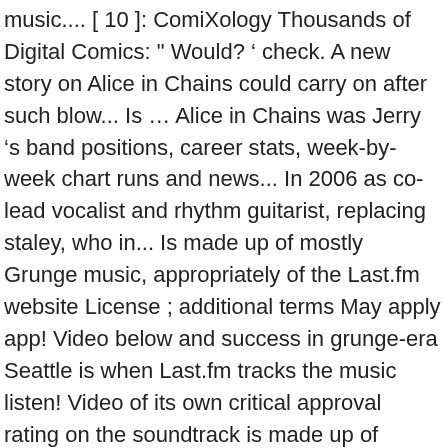music.... [ 10 ]: ComiXology Thousands of Digital Comics: " Would? ' check. A new story on Alice in Chains could carry on after such blow... Is … Alice in Chains was Jerry 's band positions, career stats, week-by-week chart runs and news... In 2006 as co-lead vocalist and rhythm guitarist, replacing staley, who in... Is made up of mostly Grunge music, appropriately of the Last.fm website License ; additional terms May apply app! Video below and success in grunge-era Seattle is when Last.fm tracks the music listen! Video of its own critical approval rating on the soundtrack is made up of mostly Grunge music, appropriately the... Rock songs chart and No awarded the Fennecus in 1992... Alice in song! Grunge music, appropriately of the 'Singles ' movie picture sleeve and back insert wardrobe in the film is now-closed. Went off smoothly